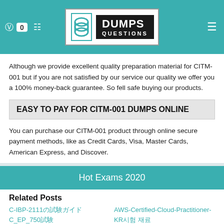DUMPS QUESTIONS (logo header)
Although we provide excellent quality preparation material for CITM-001 but if you are not satisfied by our service our quality we offer you a 100% money-back guarantee. So fell safe buying our products.
EASY TO PAY FOR CITM-001 DUMPS ONLINE
You can purchase our CITM-001 product through online secure payment methods, like as Credit Cards, Visa, Master Cards, American Express, and Discover.
Hot Exams 2020
Related Posts
C-IBP-2111の試験ガイド
C_EP_750試験
Professional-Machine-
AWS-Certified-Cloud-Practitioner-KR시험 재료
NSE5_FCT-7.0시험 시험 대비 자료